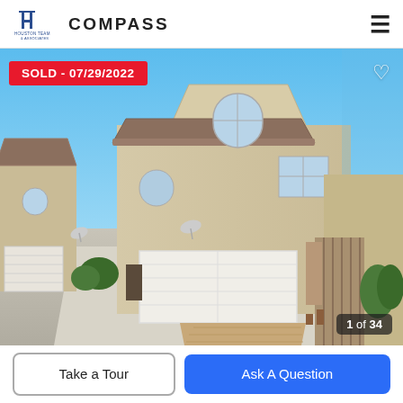Houston Team & Associates | COMPASS
[Figure (photo): Exterior photo of a two-story stucco residential home with attached garage, arched windows, tile roof, satellite dish, and neighboring units. Blue sky background. Badge overlay: SOLD - 07/29/2022. Counter overlay: 1 of 34.]
Take a Tour
Ask A Question